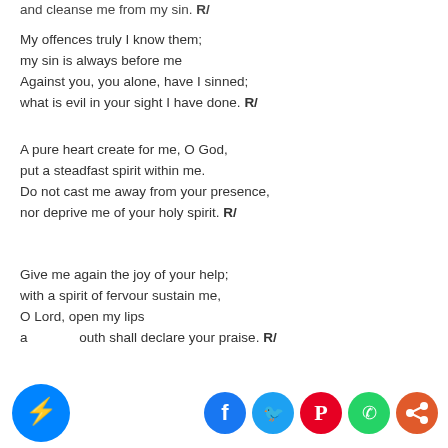and cleanse me from my sin. R/
My offences truly I know them;
my sin is always before me
Against you, you alone, have I sinned;
what is evil in your sight I have done. R/
A pure heart create for me, O God,
put a steadfast spirit within me.
Do not cast me away from your presence,
nor deprive me of your holy spirit. R/
Give me again the joy of your help;
with a spirit of fervour sustain me,
O Lord, open my lips
and my mouth shall declare your praise. R/
[Figure (illustration): Social sharing icons: Messenger (blue circle with lightning bolt), Facebook (dark blue circle with f), Twitter (blue circle with bird), Pinterest (red circle with P), WhatsApp (green circle), Share (orange-red circle)]